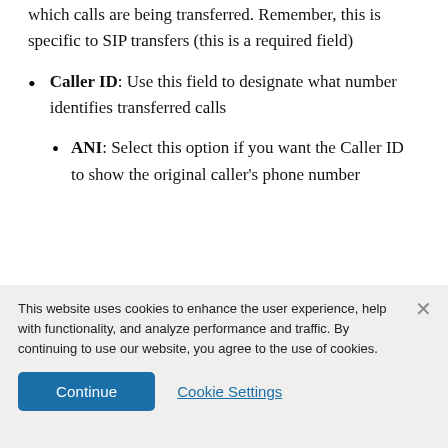which calls are being transferred. Remember, this is specific to SIP transfers (this is a required field)
Caller ID: Use this field to designate what number identifies transferred calls
ANI: Select this option if you want the Caller ID to show the original caller's phone number
This website uses cookies to enhance the user experience, help with functionality, and analyze performance and traffic. By continuing to use our website, you agree to the use of cookies.
Continue
Cookie Settings